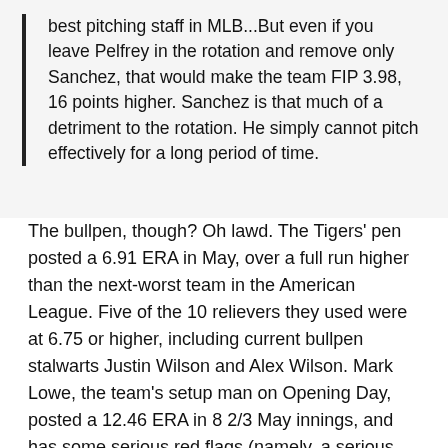best pitching staff in MLB...But even if you leave Pelfrey in the rotation and remove only Sanchez, that would make the team FIP 3.98, 16 points higher. Sanchez is that much of a detriment to the rotation. He simply cannot pitch effectively for a long period of time.
The bullpen, though? Oh lawd. The Tigers' pen posted a 6.91 ERA in May, over a full run higher than the next-worst team in the American League. Five of the 10 relievers they used were at 6.75 or higher, including current bullpen stalwarts Justin Wilson and Alex Wilson. Mark Lowe, the team's setup man on Opening Day, posted a 12.46 ERA in 8 2/3 May innings, and has some serious red flags (namely, a serious drop in velocity) surrounding his overall performance in 2016. Justin Wilson and Francisco Rodriguez are perhaps